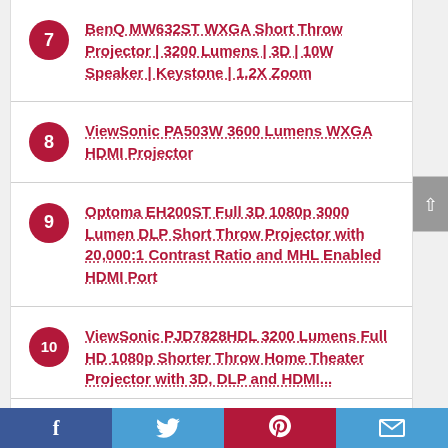7 BenQ MW632ST WXGA Short Throw Projector | 3200 Lumens | 3D | 10W Speaker | Keystone | 1.2X Zoom
8 ViewSonic PA503W 3600 Lumens WXGA HDMI Projector
9 Optoma EH200ST Full 3D 1080p 3000 Lumen DLP Short Throw Projector with 20,000:1 Contrast Ratio and MHL Enabled HDMI Port
10 ViewSonic PJD7828HDL 3200 Lumens Full HD 1080p Shorter Throw Home Theater Projector with 3D, DLP and HDMI...